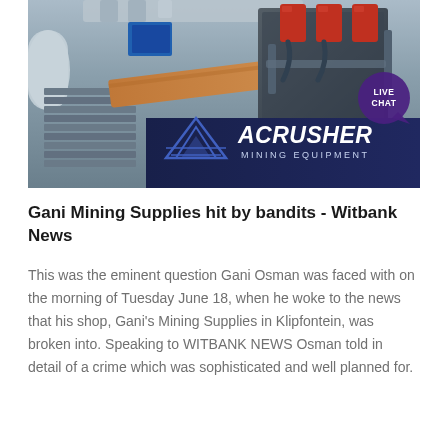[Figure (photo): Photo of mining equipment/machinery with an overlay banner showing 'ACRUSHER MINING EQUIPMENT' logo. A live chat bubble is visible in the top right corner.]
Gani Mining Supplies hit by bandits - Witbank News
This was the eminent question Gani Osman was faced with on the morning of Tuesday June 18, when he woke to the news that his shop, Gani's Mining Supplies in Klipfontein, was broken into. Speaking to WITBANK NEWS Osman told in detail of a crime which was sophisticated and well planned for.